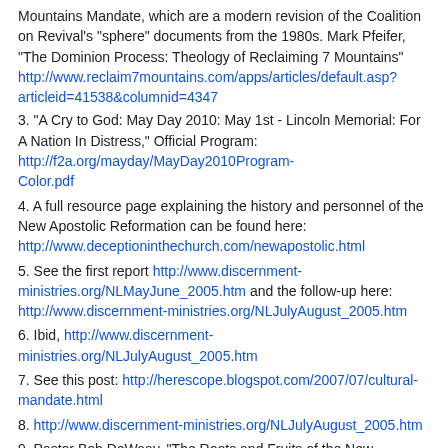Mountains Mandate, which are a modern revision of the Coalition on Revival's "sphere" documents from the 1980s. Mark Pfeifer, "The Dominion Process: Theology of Reclaiming 7 Mountains" http://www.reclaim7mountains.com/apps/articles/default.asp?articleid=41538&columnid=4347
3. "A Cry to God: May Day 2010: May 1st - Lincoln Memorial: For A Nation In Distress," Official Program: http://f2a.org/mayday/MayDay2010Program-Color.pdf
4. A full resource page explaining the history and personnel of the New Apostolic Reformation can be found here: http://www.deceptioninthechurch.com/newapostolic.html
5. See the first report http://www.discernment-ministries.org/NLMayJune_2005.htm and the follow-up here: http://www.discernment-ministries.org/NLJulyAugust_2005.htm
6. Ibid, http://www.discernment-ministries.org/NLJulyAugust_2005.htm
7. See this post: http://herescope.blogspot.com/2007/07/cultural-mandate.html
8. http://www.discernment-ministries.org/NLJulyAugust_2005.htm
9. Pastor Bob DeWaay, "The Roots and Fruits of the New Apostolic Reformation," http://cicministry.org/commentary/issue103.htm
10. See Ed Tarkowski's excellent 1990s article series on the laughing "revivals" beginning here: http://users.stargate.net/~eit/corpchr1.htm